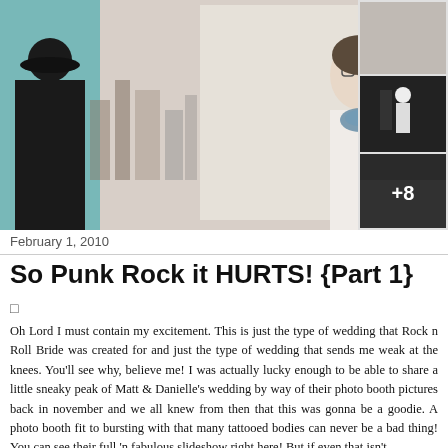[Figure (photo): Main wedding photo showing a tattooed man in dark clothing and hat on the left, a city skyline view in the center background, and a tattooed bride in white on the right. Three smaller black and white sidebar photos on the right side, the bottom one showing '+8' overlay.]
February 1, 2010
So Punk Rock it HURTS! {Part 1}
□
Oh Lord I must contain my excitement. This is just the type of wedding that Rock n Roll Bride was created for and just the type of wedding that sends me weak at the knees. You'll see why, believe me! I was actually lucky enough to be able to share a little sneaky peak of Matt & Danielle's wedding by way of their photo booth pictures back in november and we all knew from then that this was gonna be a goodie. A photo booth fit to bursting with that many tattooed bodies can never be a bad thing! You can see their full 'n fabulous slideshow right here! But if even that isn't